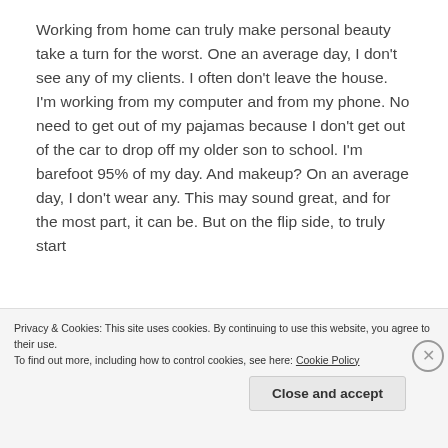Working from home can truly make personal beauty take a turn for the worst. One an average day, I don't see any of my clients. I often don't leave the house. I'm working from my computer and from my phone. No need to get out of my pajamas because I don't get out of the car to drop off my older son to school. I'm barefoot 95% of my day. And makeup? On an average day, I don't wear any. This may sound great, and for the most part, it can be. But on the flip side, to truly start
Privacy & Cookies: This site uses cookies. By continuing to use this website, you agree to their use.
To find out more, including how to control cookies, see here: Cookie Policy
Close and accept